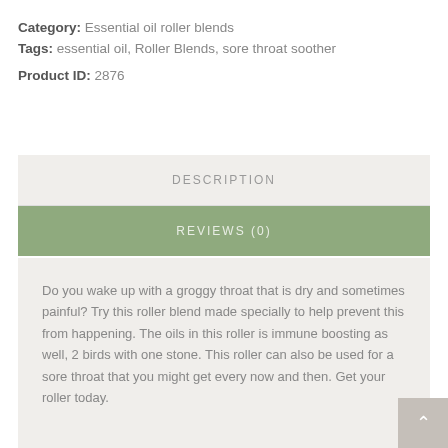Category: Essential oil roller blends
Tags: essential oil, Roller Blends, sore throat soother
Product ID: 2876
DESCRIPTION
REVIEWS (0)
Do you wake up with a groggy throat that is dry and sometimes painful? Try this roller blend made specially to help prevent this from happening. The oils in this roller is immune boosting as well, 2 birds with one stone. This roller can also be used for a sore throat that you might get every now and then. Get your roller today.